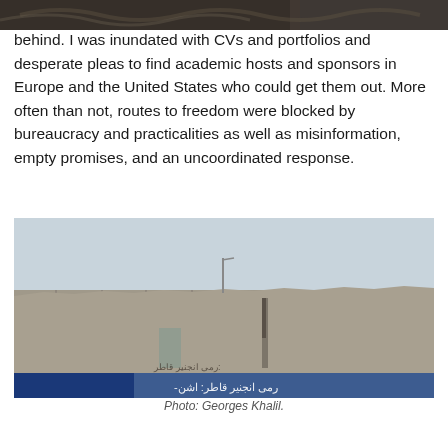[Figure (photo): Partial top edge of a photograph visible at very top of page, dark tones]
behind. I was inundated with CVs and portfolios and desperate pleas to find academic hosts and sponsors in Europe and the United States who could get them out. More often than not, routes to freedom were blocked by bureaucracy and practicalities as well as misinformation, empty promises, and an uncoordinated response.
[Figure (photo): A large concrete blast wall or T-wall with Arabic script graffiti and a blue banner at the bottom. Sky is pale blue-grey in the background.]
Photo: Georges Khalil.